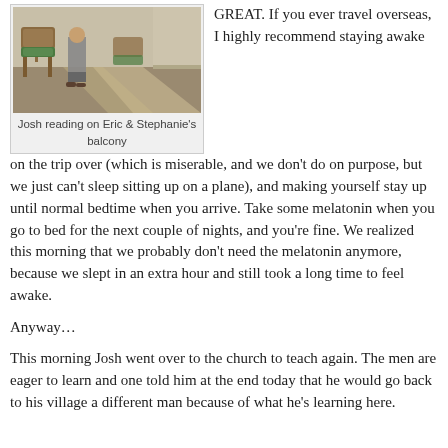[Figure (photo): Photo of Josh reading on a balcony with rattan furniture and cushioned chairs visible]
Josh reading on Eric & Stephanie's balcony
GREAT. If you ever travel overseas, I highly recommend staying awake on the trip over (which is miserable, and we don't do on purpose, but we just can't sleep sitting up on a plane), and making yourself stay up until normal bedtime when you arrive. Take some melatonin when you go to bed for the next couple of nights, and you're fine. We realized this morning that we probably don't need the melatonin anymore, because we slept in an extra hour and still took a long time to feel awake.
Anyway…
This morning Josh went over to the church to teach again. The men are eager to learn and one told him at the end today that he would go back to his village a different man because of what he's learning here.